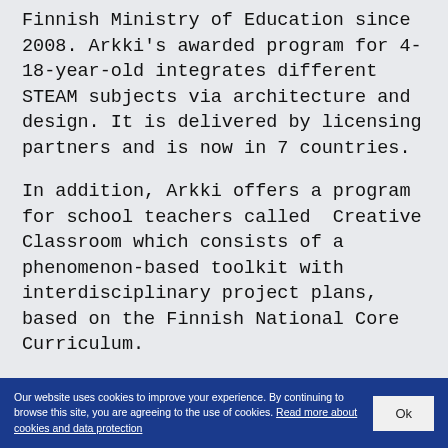Finnish Ministry of Education since 2008. Arkki's awarded program for 4-18-year-old integrates different STEAM subjects via architecture and design. It is delivered by licensing partners and is now in 7 countries.
In addition, Arkki offers a program for school teachers called Creative Classroom which consists of a phenomenon-based toolkit with interdisciplinary project plans, based on the Finnish National Core Curriculum.
Besides, Arkki offers training and workshops for professionals and conducts
Our website uses cookies to improve your experience. By continuing to browse this site, you are agreeing to the use of cookies. Read more about cookies and data protection